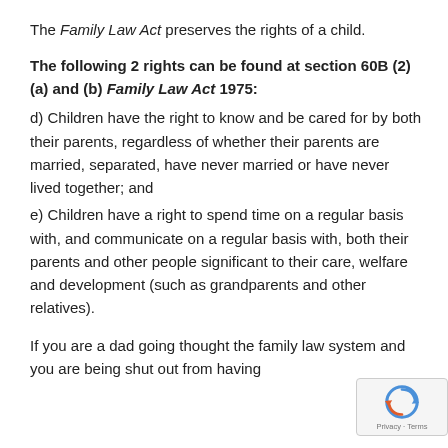The Family Law Act preserves the rights of a child.
The following 2 rights can be found at section 60B (2)(a) and (b) Family Law Act 1975:
d) Children have the right to know and be cared for by both their parents, regardless of whether their parents are married, separated, have never married or have never lived together; and
e) Children have a right to spend time on a regular basis with, and communicate on a regular basis with, both their parents and other people significant to their care, welfare and development (such as grandparents and other relatives).
If you are a dad going thought the family law system and you are being shut out from having